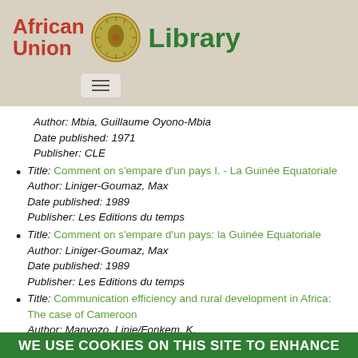[Figure (logo): African Union Library logo with emblem and text]
[Figure (other): Navigation hamburger menu button]
Author: Mbia, Guillaume Oyono-Mbia
Date published: 1971
Publisher: CLE
Title: Comment on s'empare d'un pays I. - La Guinée Equatoriale
Author: Liniger-Goumaz, Max
Date published: 1989
Publisher: Les Editions du temps
Title: Comment on s'empare d'un pays: la Guinée Equatoriale
Author: Liniger-Goumaz, Max
Date published: 1989
Publisher: Les Editions du temps
Title: Communication efficiency and rural development in Africa: The case of Cameroon
Author: Manyozo, Linje/Fonkem, K.
WE USE COOKIES ON THIS SITE TO ENHANCE